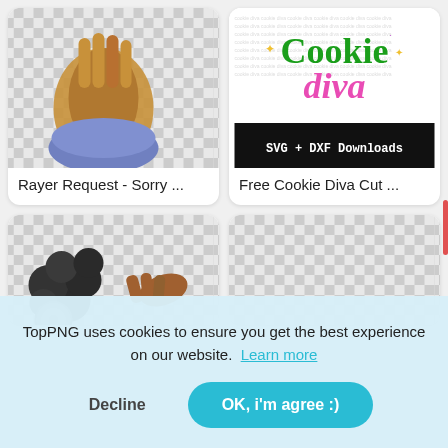[Figure (screenshot): Screenshot of a TopPNG image search results grid showing four image cards. Top left: praying hands PNG on checkered background labeled 'Rayer Request - Sorry ...'. Top right: Cookie Diva SVG + DXF Downloads image labeled 'Free Cookie Diva Cut ...'. Bottom two rows show partial gear/mechanical PNG images. A cookie consent overlay popup covers the bottom half: 'TopPNG uses cookies to ensure you get the best experience on our website. Learn more' with 'Decline' and 'OK, i'm agree :)' buttons.]